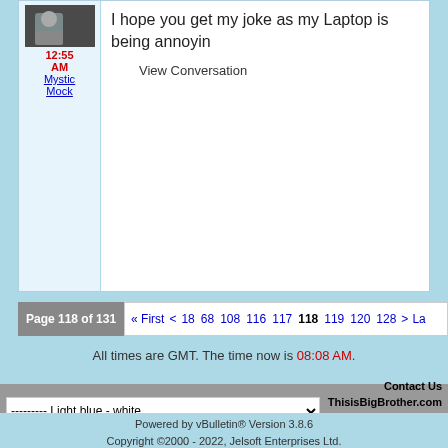[Figure (photo): Small avatar/profile picture of a user, dark toned image]
12:55 AM
Mystic Mock
I hope you get my joke as my Laptop is being annoyin
View Conversation
Page 118 of 131  « First  <  18  68  108  116  117  118  119  120  128  >  La
All times are GMT. The time now is 08:08 AM.
Contact Us ThisisBigBrother.com - ThisisXFactor.com Archive - To
--------- Light blue - white
Powered by vBulletin® Version 3.8.6 Copyright ©2000 - 2022, Jelsoft Enterprises Ltd.